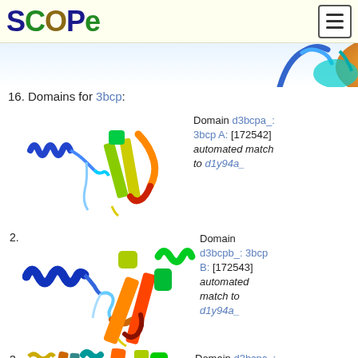SCOPe
[Figure (illustration): Partial view of a protein structure rendered in ribbon diagram style with rainbow coloring (blue to red), cropped at the top of the page.]
16. Domains for 3bcp:
[Figure (illustration): Protein structure ribbon diagram for domain d3bcpa_, chain A of 3bcp, rainbow colored from blue (N-terminus) to red (C-terminus).]
Domain d3bcpa_: 3bcp A: [172542] automated match to d1y94a_
[Figure (illustration): Protein structure ribbon diagram for domain d3bcpb_, chain B of 3bcp, rainbow colored from blue to red.]
Domain d3bcpb_: 3bcp B: [172543] automated match to d1y94a_
[Figure (illustration): Protein structure ribbon diagram for domain d3bcpc_, chain C of 3bcp, rainbow colored from blue to red.]
Domain d3bcpc_: 3bcp C: [172544] automated match to d1y94a_
4. Domain d3bcpd_: